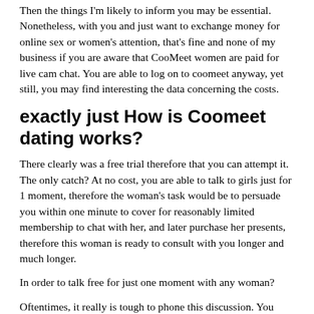Then the things I'm likely to inform you may be essential. Nonetheless, with you and just want to exchange money for online sex or women's attention, that's fine and none of my business if you are aware that CooMeet women are paid for live cam chat. You are able to log on to coomeet anyway, yet still, you may find interesting the data concerning the costs.
exactly just How is Coomeet dating works?
There clearly was a free trial therefore that you can attempt it. The only catch? At no cost, you are able to talk to girls just for 1 moment, therefore the woman's task would be to persuade you within one minute to cover for reasonably limited membership to chat with her, and later purchase her presents, therefore this woman is ready to consult with you longer and much longer.
In order to talk free for just one moment with any woman?
Oftentimes, it really is tough to phone this discussion. You should have the impression that numerous girls aren't live through this free moment, as well as the movie talk is prerecorded.
Advertise vs. reality that is ugly
Just Exactly Exactly How Coo Meet describe themselves? A large number of women, if not inside from about the about some live...